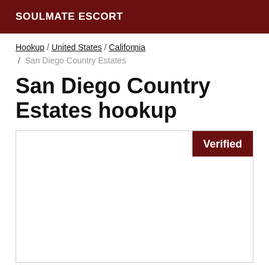SOULMATE ESCORT
Hookup / United States / California / San Diego Country Estates
San Diego Country Estates hookup
[Figure (other): Card with a Verified badge in the top-right corner. The card body is empty white space.]